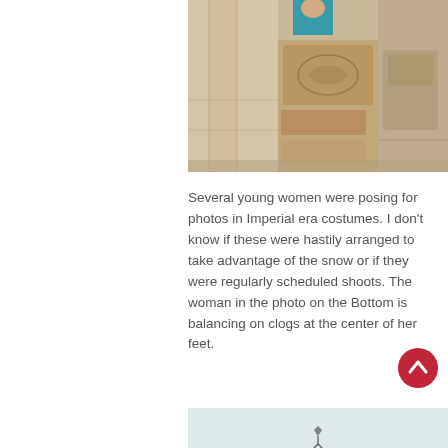[Figure (photo): Photo of ancient stone columns and carved reliefs, possibly a Roman or classical archaeological site. A person in a teal/turquoise top is visible at the top center.]
Several young women were posing for photos in Imperial era costumes. I don't know if these were hastily arranged to take advantage of the snow or if they were regularly scheduled shoots. The woman in the photo on the Bottom is balancing on clogs at the center of her feet.
[Figure (photo): Partial photo at the bottom of the page, appears to show a light-colored background with a small dark figure or bird in the lower portion.]